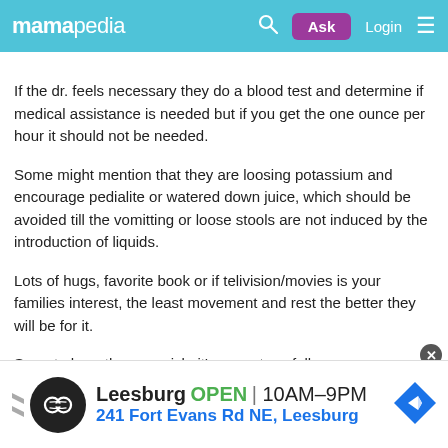mamapedia — Ask | Login
If the dr. feels necessary they do a blood test and determine if medical assistance is needed but if you get the one ounce per hour it should not be needed.
Some might mention that they are loosing potassium and encourage pedialite or watered down juice, which should be avoided till the vomitting or loose stools are not induced by the introduction of liquids.
Lots of hugs, favorite book or if telivision/movies is your families interest, the least movement and rest the better they will be for it.
Sorry to hear they are sick, it's very stressfull.
I like that your on this fantastic website to get
[Figure (infographic): Advertisement banner for Leesburg store: circular logo with chain link symbol, text 'Leesburg OPEN 10AM–9PM 241 Fort Evans Rd NE, Leesburg', navigation arrow icon on right]